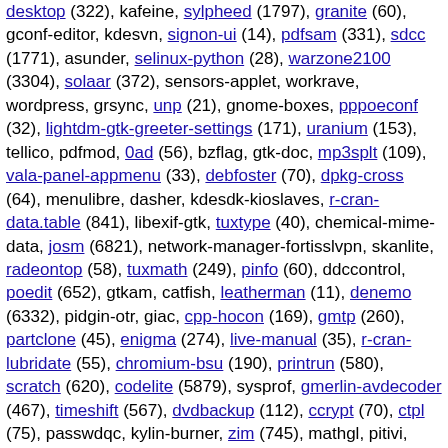desktop (322), kafeine, sylpheed (1797), granite (60), gconf-editor, kdesvn, signon-ui (14), pdfsam (331), sdcc (1771), asunder, selinux-python (28), warzone2100 (3304), solaar (372), sensors-applet, workrave, wordpress, grsync, unp (21), gnome-boxes, pppoeconf (32), lightdm-gtk-greeter-settings (171), uranium (153), tellico, pdfmod, 0ad (56), bzflag, gtk-doc, mp3splt (109), vala-panel-appmenu (33), debfoster (70), dpkg-cross (64), menulibre, dasher, kdesdk-kioslaves, r-cran-data.table (841), libexif-gtk, tuxtype (40), chemical-mime-data, josm (6821), network-manager-fortisslvpn, skanlite, radeontop (58), tuxmath (249), pinfo (60), ddccontrol, poedit (652), gtkam, catfish, leatherman (11), denemo (6332), pidgin-otr, giac, cpp-hocon (169), gmtp (260), partclone (45), enigma (274), live-manual (35), r-cran-lubridate (55), chromium-bsu (190), printrun (580), scratch (620), codelite (5879), sysprof, gmerlin-avdecoder (467), timeshift (567), dvdbackup (112), ccrypt (70), ctpl (75), passwdqc, kylin-burner, zim (745), mathgl, pitivi, python-django, fcitx5-configtool (62), gnome-chemistry-utils,